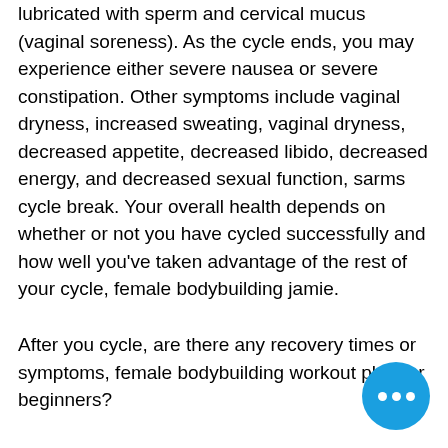lubricated with sperm and cervical mucus (vaginal soreness). As the cycle ends, you may experience either severe nausea or severe constipation. Other symptoms include vaginal dryness, increased sweating, vaginal dryness, decreased appetite, decreased libido, decreased energy, and decreased sexual function, sarms cycle break. Your overall health depends on whether or not you have cycled successfully and how well you've taken advantage of the rest of your cycle, female bodybuilding jamie.
After you cycle, are there any recovery times or symptoms, female bodybuilding workout plan for beginners?
The recovery times, when to expect recovery, and how long you can comfortably hold those recovery times vary from person to person - and there's no right or wrong to do it. However, if you use a method of sex